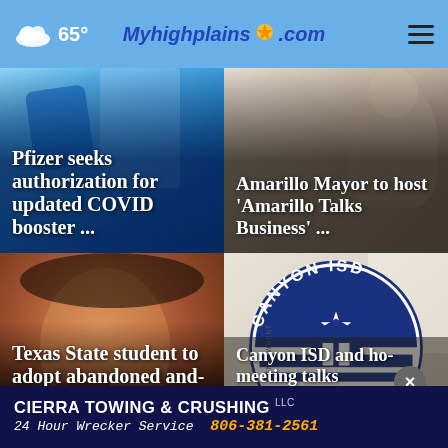☁ 65° | Myhighplains.com | ☰
[Figure (screenshot): News card: Pfizer seeks authorization for updated COVID booster ... (blue/blurred photo background)]
Pfizer seeks authorization for updated COVID booster ...
[Figure (screenshot): News card: Amarillo Mayor to host 'Amarillo Talks Business' ... (light background with person)]
Amarillo Mayor to host 'Amarillo Talks Business' ...
[Figure (photo): Child smiling at camera — news story about Texas State student adopting abandoned child]
Texas State student to adopt abandoned and-
[Figure (logo): Canyon ISD circular logo in navy blue and white with star and graduation cap design]
Canyon ISD and ho- meeting talks
CIERRA TOWING & CRUSHING LLC | 24 Hour Wrecker Service 806-381-2561